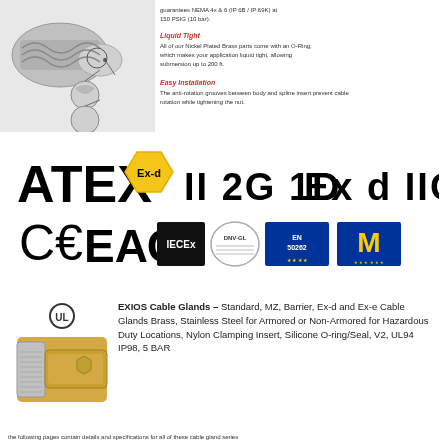[Figure (photo): Liquid tight cable gland connector photo with detail callout circles showing O-ring and anti-rotation grooves, plus NEMA and IP rating text, Liquid Tight and Easy Installation feature callouts]
[Figure (infographic): Certification logos row: ATEX Ex-d hexagon badge, II 2G 1D Ex d IIC text, CE mark, EAC (EHI) mark, IECEx logo, DNV-GL logo, EN 50262 EU flag badge, M EU flag badge]
[Figure (photo): UL listed EXIOS brass cable gland product photo with UL circle mark above]
EXIOS Cable Glands – Standard, MZ, Barrier, Ex-d and Ex-e Cable Glands Brass, Stainless Steel for Armored or Non-Armored for Hazardous Duty Locations, Nylon Clamping Insert, Silicone O-ring/Seal, V2, UL94 IP98, 5 BAR